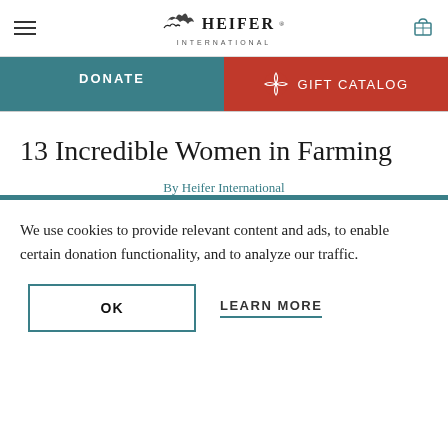Heifer International — Navigation header with logo, hamburger menu, and cart icon
[Figure (screenshot): Heifer International logo with stylized animal icon and INTERNATIONAL text below]
DONATE
GIFT CATALOG
13 Incredible Women in Farming
By Heifer International
We use cookies to provide relevant content and ads, to enable certain donation functionality, and to analyze our traffic.
OK
LEARN MORE